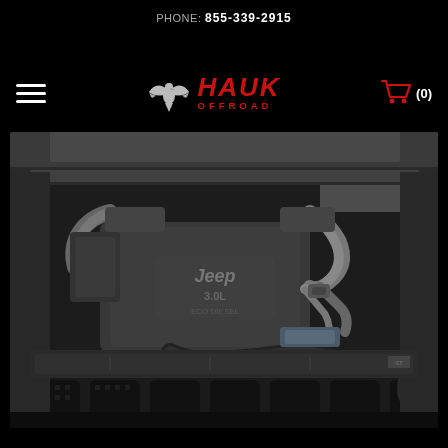PHONE: 855-339-2915
[Figure (logo): Hauk Offroad logo with eagle emblem, red HAUK OFFROAD text, hamburger menu icon on left, shopping cart icon with (0) on right]
[Figure (photo): Black and white photo of a Jeep engine bay showing a 3.0L EcoDiesel engine with aftermarket modifications, turbocharged diesel engine with custom intake piping and intercooler piping, viewed with hood open from front]